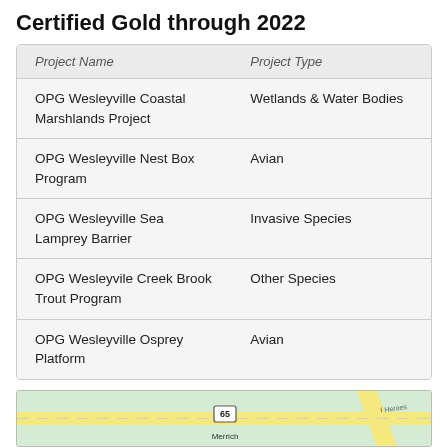Certified Gold through 2022
| Project Name | Project Type |
| --- | --- |
| OPG Wesleyville Coastal Marshlands Project | Wetlands & Water Bodies |
| OPG Wesleyville Nest Box Program | Avian |
| OPG Wesleyville Sea Lamprey Barrier | Invasive Species |
| OPG Wesleyvile Creek Brook Trout Program | Other Species |
| OPG Wesleyville Osprey Platform | Avian |
[Figure (map): Partial street map showing road 65 and Merrich area with Heroes of Remembrance area visible]